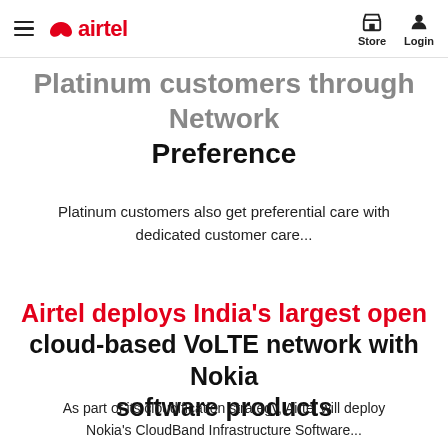airtel | Store | Login
Platinum customers through Network Preference
Platinum customers also get preferential care with dedicated customer care...
Airtel deploys India's largest open cloud-based VoLTE network with Nokia software products
As part of its cloudification strategy, Airtel will deploy Nokia's CloudBand Infrastructure Software...